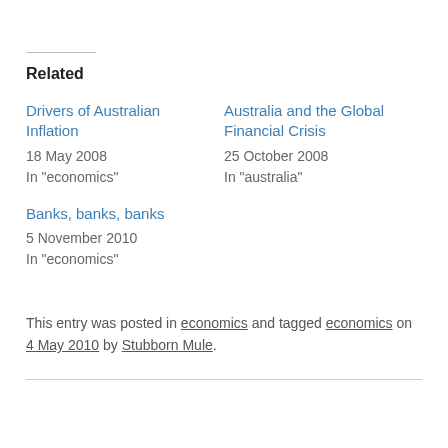Related
Drivers of Australian Inflation
18 May 2008
In "economics"
Australia and the Global Financial Crisis
25 October 2008
In "australia"
Banks, banks, banks
5 November 2010
In "economics"
This entry was posted in economics and tagged economics on 4 May 2010 by Stubborn Mule.